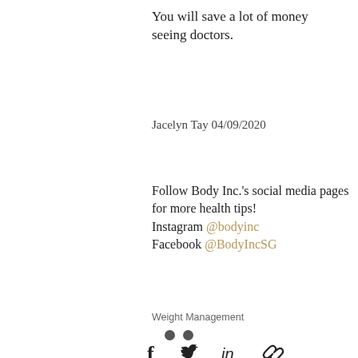You will save a lot of money seeing doctors.
Jacelyn Tay 04/09/2020
Follow Body Inc.'s social media pages for more health tips!
Instagram @bodyinc
Facebook @BodyIncSG
Weight Management
[Figure (infographic): Social share icons row: Facebook, Twitter, LinkedIn, link/copy icon]
[Figure (infographic): Heart/like icon (outline, red)]
[Figure (infographic): Two grey pagination dots at bottom center]